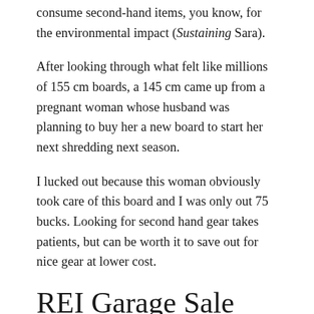consume second-hand items, you know, for the environmental impact (Sustaining Sara).
After looking through what felt like millions of 155 cm boards, a 145 cm came up from a pregnant woman whose husband was planning to buy her a new board to start her next shredding next season.
I lucked out because this woman obviously took care of this board and I was only out 75 bucks. Looking for second hand gear takes patients, but can be worth it to save out for nice gear at lower cost.
REI Garage Sale
I am the biggest advocate of becoming and REI member. I have gotten so many great, cheap pieces of gear for backpacking and snowboarding because someone had the gear and then returned it. I can recall...